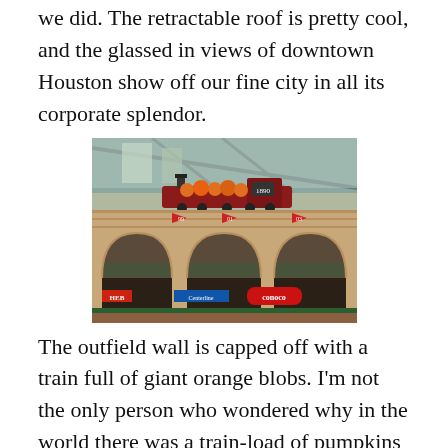we did. The retractable roof is pretty cool, and the glassed in views of downtown Houston show off our fine city in all its corporate splendor.
[Figure (photo): Interior photo of Minute Maid Park (Houston Astros stadium) showing the outfield wall with an old-fashioned locomotive train on top, arched brick facade, pennant flags numbered 99, 01, 03, and advertising signs including HEB and Conoco. The retractable roof and glass panels are visible in the background.]
The outfield wall is capped off with a train full of giant orange blobs. I'm not the only person who wondered why in the world there was a train-load of pumpkins at the ballpark only to realize that, duh! they're oranges. Minute